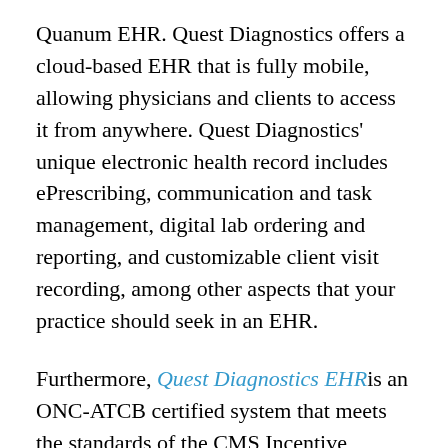Quanum EHR. Quest Diagnostics offers a cloud-based EHR that is fully mobile, allowing physicians and clients to access it from anywhere. Quest Diagnostics' unique electronic health record includes ePrescribing, communication and task management, digital lab ordering and reporting, and customizable client visit recording, among other aspects that your practice should seek in an EHR.
Furthermore, Quest Diagnostics EHR is an ONC-ATCB certified system that meets the standards of the CMS Incentive Program for the deployment of an EHR, which might enable you to qualify for EHR incentive funds from the Centers for Medicare and Medicaid Services (CMS). The product also has excellent monitoring